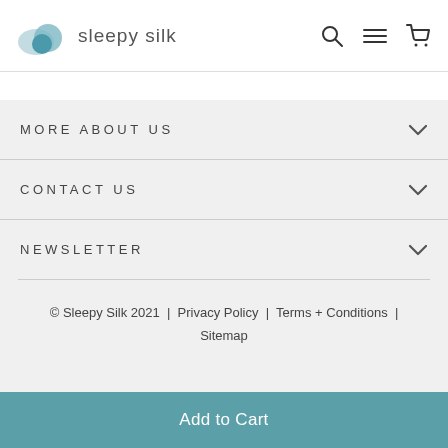sleepy silk
MORE ABOUT US
CONTACT US
NEWSLETTER
© Sleepy Silk 2021  |  Privacy Policy  |  Terms + Conditions  |  Sitemap
Add to Cart